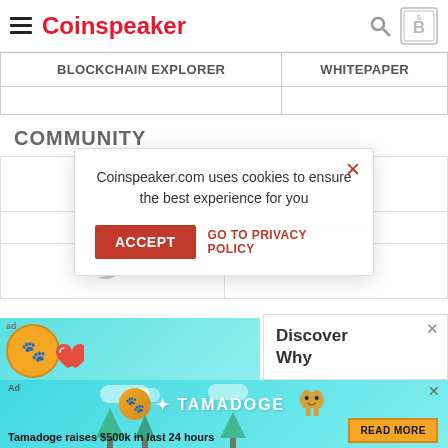Coinspeaker
| Blockchain Explorer | Whitepaper |
| --- | --- |
COMMUNITY
| Blog | Facebook |
| Twitter |  |
[Figure (screenshot): Cookie consent overlay: 'Coinspeaker.com uses cookies to ensure the best experience for you' with ACCEPT button and GO TO PRIVACY POLICY link]
[Figure (infographic): Ad banner showing pixel-art coin and heart on teal background, and Discover Why panel]
[Figure (infographic): Bottom ad banner: Tamadoge logo, pixel-art dog, 'Tamadoge raises $500k in last 24 hours', READ MORE button]